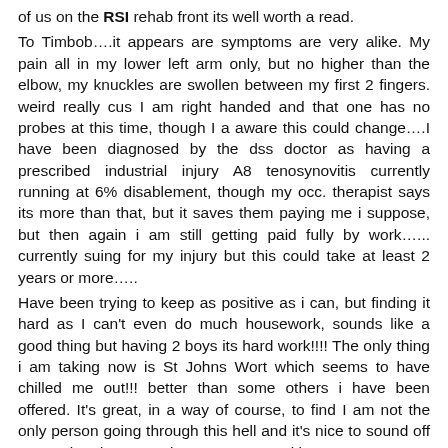of us on the RSI rehab front its well worth a read. To Timbob….it appears are symptoms are very alike. My pain all in my lower left arm only, but no higher than the elbow, my knuckles are swollen between my first 2 fingers. weird really cus I am right handed and that one has no probes at this time, though I a aware this could change….I have been diagnosed by the dss doctor as having a prescribed industrial injury A8 tenosynovitis currently running at 6% disablement, though my occ. therapist says its more than that, but it saves them paying me i suppose, but then again i am still getting paid fully by work…... currently suing for my injury but this could take at least 2 years or more…..
Have been trying to keep as positive as i can, but finding it hard as I can't even do much housework, sounds like a good thing but having 2 boys its hard work!!!! The only thing i am taking now is St Johns Wort which seems to have chilled me out!!! better than some others i have been offered. It's great, in a way of course, to find I am not the only person going through this hell and it's nice to sound off to people I don't even know!!! Keep Positive
PS...I found that wearing a sports splint just below my elbow totally stopped my night numbness maybe of help to